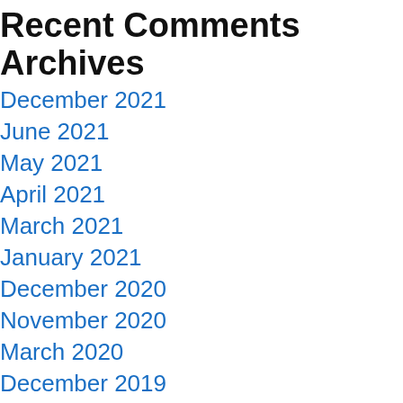Recent Comments
Archives
December 2021
June 2021
May 2021
April 2021
March 2021
January 2021
December 2020
November 2020
March 2020
December 2019
August 2018
Categories
#drivesales
#sales
#transform
Brand
Business
Business Goals
Business Growth